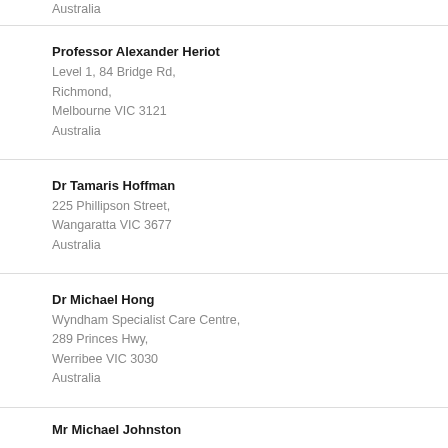Australia
Professor Alexander Heriot
Level 1, 84 Bridge Rd,
Richmond,
Melbourne VIC 3121
Australia
Dr Tamaris Hoffman
225 Phillipson Street,
Wangaratta VIC 3677
Australia
Dr Michael Hong
Wyndham Specialist Care Centre,
289 Princes Hwy,
Werribee VIC 3030
Australia
Mr Michael Johnston